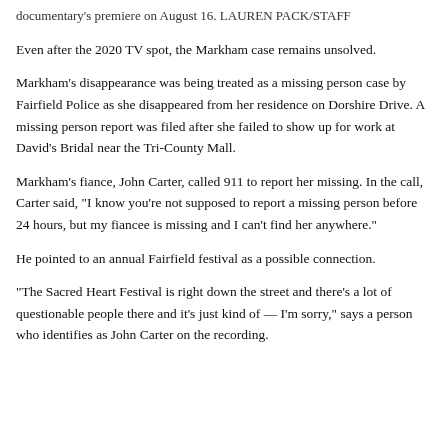documentary's premiere on August 16. LAUREN PACK/STAFF
Even after the 2020 TV spot, the Markham case remains unsolved.
Markham's disappearance was being treated as a missing person case by Fairfield Police as she disappeared from her residence on Dorshire Drive. A missing person report was filed after she failed to show up for work at David's Bridal near the Tri-County Mall.
Markham's fiance, John Carter, called 911 to report her missing. In the call, Carter said, "I know you're not supposed to report a missing person before 24 hours, but my fiancee is missing and I can't find her anywhere."
He pointed to an annual Fairfield festival as a possible connection.
"The Sacred Heart Festival is right down the street and there's a lot of questionable people there and it's just kind of — I'm sorry," says a person who identifies as John Carter on the recording.